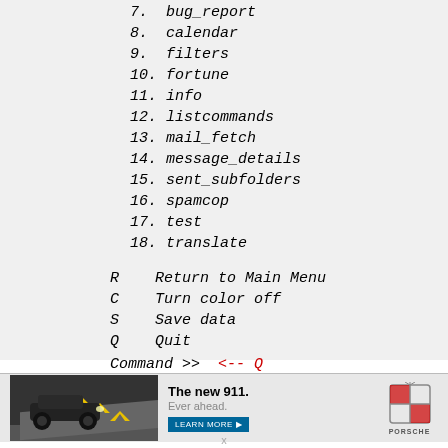7.  bug_report
8.  calendar
9.  filters
10. fortune
11. info
12. listcommands
13. mail_fetch
14. message_details
15. sent_subfolders
16. spamcop
17. test
18. translate
R    Return to Main Menu
C    Turn color off
S    Save data
Q    Quit
Command >>  <-- Q
[Figure (infographic): Porsche advertisement banner showing the new 911 car with text 'The new 911. Ever ahead.' and a Learn More button, plus Porsche logo.]